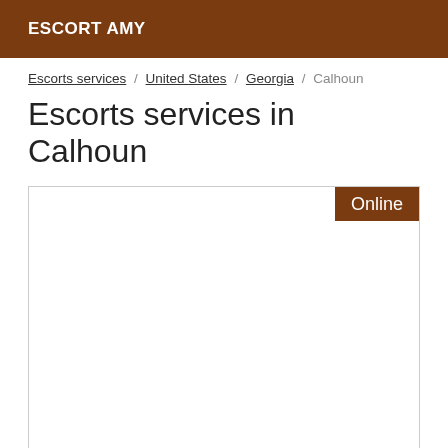ESCORT AMY
Escorts services / United States / Georgia / Calhoun
Escorts services in Calhoun
[Figure (other): Card/listing area with an Online badge in the top-right corner]